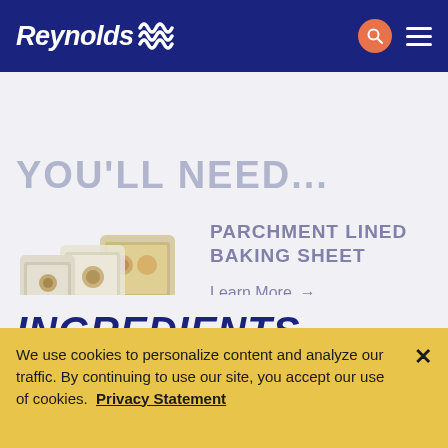Reynolds
YOU'LL NEED...
[Figure (photo): Product packaging images for Reynolds parchment paper products stacked together]
PARCHMENT LINED BAKING SHEET
Learn More →
Where to Buy →
INGREDIENTS
We use cookies to personalize content and analyze our traffic. By continuing to use our site, you accept our use of cookies.  Privacy Statement